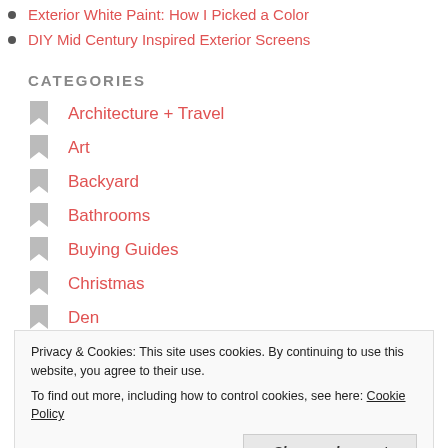Exterior White Paint: How I Picked a Color
DIY Mid Century Inspired Exterior Screens
CATEGORIES
Architecture + Travel
Art
Backyard
Bathrooms
Buying Guides
Christmas
Den
Privacy & Cookies: This site uses cookies. By continuing to use this website, you agree to their use. To find out more, including how to control cookies, see here: Cookie Policy
Close and accept
Family Room